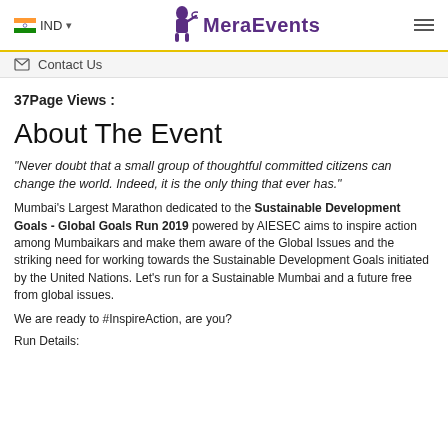IND   MeraEvents
Contact Us
37Page Views :
About The Event
"Never doubt that a small group of thoughtful committed citizens can change the world. Indeed, it is the only thing that ever has."
Mumbai’s Largest Marathon dedicated to the Sustainable Development Goals - Global Goals Run 2019 powered by AIESEC aims to inspire action among Mumbaikars and make them aware of the Global Issues and the striking need for working towards the Sustainable Development Goals initiated by the United Nations. Let’s run for a Sustainable Mumbai and a future free from global issues.
We are ready to #InspireAction, are you?
Run Details: